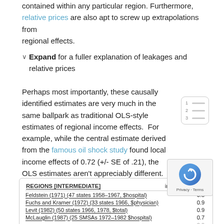contained within any particular region. Furthermore, relative prices are also apt to screw up extrapolations from regional effects.
✓ Expand for a fuller explanation of leakages and relative prices
Perhaps most importantly, these causally identified estimates are very much in the same ballpark as traditional OLS-style estimates of regional income effects. For example, while the central estimate derived from the famous oil shock study found local income effects of 0.72 (+/- SE of .21), the OLS estimates aren't appreciably different.
| REGIONS [intermediate] | income-elasti… |
| --- | --- |
| Feldstein (1971) (47 states 1958–1967, $hospital) | 0.5 |
| Fuchs and Kramer (1972) (33 states 1966, $physician) | 0.9 |
| Levit (1982) (50 states 1966, 1978, $total) | 0.9 |
| McLauglin (1987) (25 SMSAs 1972–1982 $hospital) | 0.7 |
| … | 0.9 |